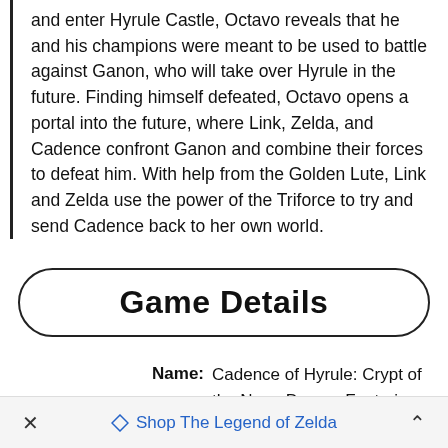and enter Hyrule Castle, Octavo reveals that he and his champions were meant to be used to battle against Ganon, who will take over Hyrule in the future. Finding himself defeated, Octavo opens a portal into the future, where Link, Zelda, and Cadence confront Ganon and combine their forces to defeat him. With help from the Golden Lute, Link and Zelda use the power of the Triforce to try and send Cadence back to her own world.
Game Details
Name: Cadence of Hyrule: Crypt of the NecroDancer Featuring The Legend of Zelda
× Shop The Legend of Zelda ^